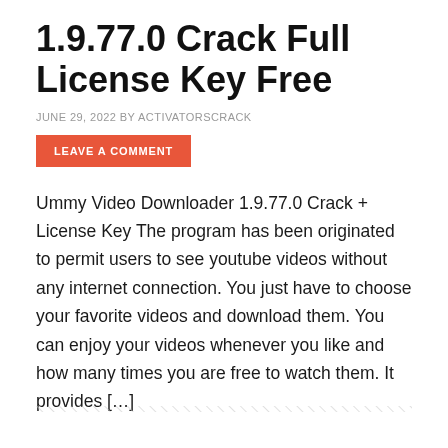1.9.77.0 Crack Full License Key Free
JUNE 29, 2022 BY ACTIVATORSCRACK
LEAVE A COMMENT
Ummy Video Downloader 1.9.77.0 Crack + License Key The program has been originated to permit users to see youtube videos without any internet connection. You just have to choose your favorite videos and download them. You can enjoy your videos whenever you like and how many times you are free to watch them. It provides […]